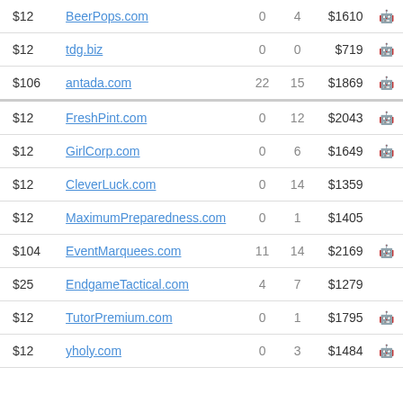| Price | Domain | Col1 | Col2 | Value | Icon |
| --- | --- | --- | --- | --- | --- |
| $12 | BeerPops.com | 0 | 4 | $1610 | 🤖 |
| $12 | tdg.biz | 0 | 0 | $719 | 🤖 |
| $106 | antada.com | 22 | 15 | $1869 | 🤖 |
| $12 | FreshPint.com | 0 | 12 | $2043 | 🤖 |
| $12 | GirlCorp.com | 0 | 6 | $1649 | 🤖 |
| $12 | CleverLuck.com | 0 | 14 | $1359 |  |
| $12 | MaximumPreparedness.com | 0 | 1 | $1405 |  |
| $104 | EventMarquees.com | 11 | 14 | $2169 | 🤖 |
| $25 | EndgameTactical.com | 4 | 7 | $1279 |  |
| $12 | TutorPremium.com | 0 | 1 | $1795 | 🤖 |
| $12 | yholy.com | 0 | 3 | $1484 | 🤖 |